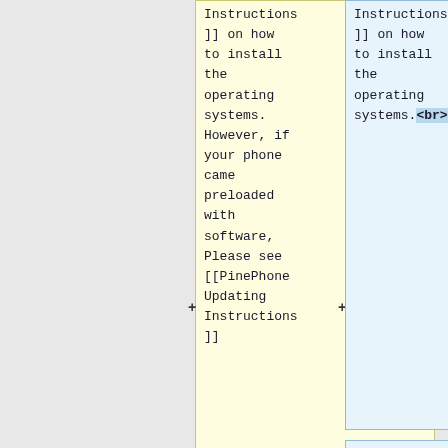Instructions]] on how to install the operating systems.
However, if your phone came preloaded with software, Please see [[PinePhone Updating Instructions]]
Instructions]] on how to install the operating systems.<br>
However, if your phone came preloaded with